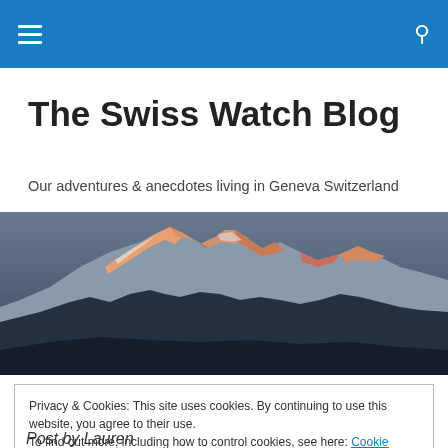The Swiss Watch Blog — navigation header bar with hamburger menu and search icon
The Swiss Watch Blog
Our adventures & anecdotes living in Geneva Switzerland
[Figure (photo): Panoramic mountain landscape showing snow-capped Alps at sunset/dusk with orange-pink alpenglow on the peaks against a dark blue-grey sky]
Privacy & Cookies: This site uses cookies. By continuing to use this website, you agree to their use.
To find out more, including how to control cookies, see here: Cookie Policy
Close and accept
Post by Lauren